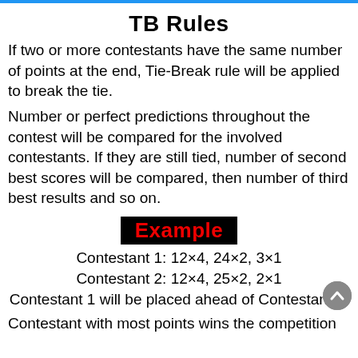TB Rules
If two or more contestants have the same number of points at the end, Tie-Break rule will be applied to break the tie.
Number or perfect predictions throughout the contest will be compared for the involved contestants. If they are still tied, number of second best scores will be compared, then number of third best results and so on.
Example
Contestant 1: 12×4, 24×2, 3×1
Contestant 2: 12×4, 25×2, 2×1
Contestant 1 will be placed ahead of Contestant 2.
Contestant with most points wins the competition